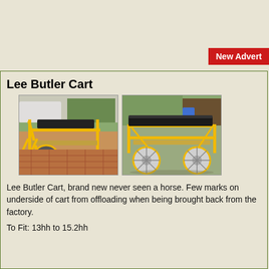[Figure (other): New Advert badge in red]
Lee Butler Cart
[Figure (photo): Two photographs of a yellow Lee Butler Cart on a brick driveway, showing front/rear views with black seat and large wheels]
Lee Butler Cart, brand new never seen a horse. Few marks on underside of cart from offloading when being brought back from the factory.
To Fit: 13hh to 15.2hh